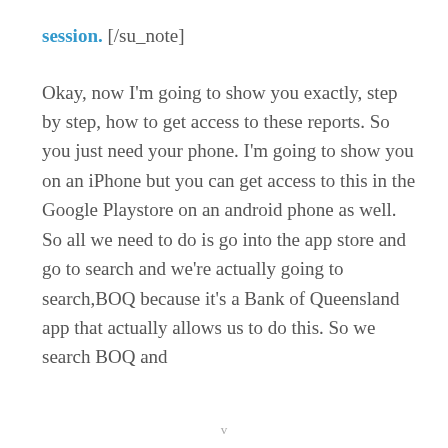session. [/su_note]
Okay, now I'm going to show you exactly, step by step, how to get access to these reports. So you just need your phone. I'm going to show you on an iPhone but you can get access to this in the Google Playstore on an android phone as well. So all we need to do is go into the app store and go to search and we're actually going to search,BOQ because it's a Bank of Queensland app that actually allows us to do this. So we search BOQ and